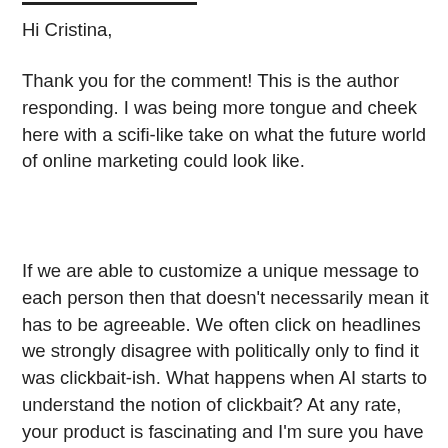Hi Cristina,
Thank you for the comment! This is the author responding. I was being more tongue and cheek here with a scifi-like take on what the future world of online marketing could look like.
If we are able to customize a unique message to each person then that doesn't necessarily mean it has to be agreeable. We often click on headlines we strongly disagree with politically only to find it was clickbait-ish. What happens when AI starts to understand the notion of clickbait? At any rate, your product is fascinating and I'm sure you have checks built in to make sure it doesn't create a world like the one I theorized in the above article. Thank